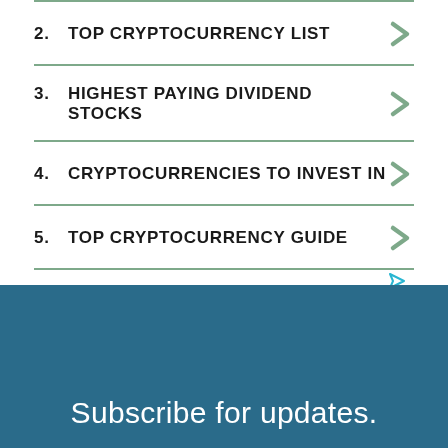2. TOP CRYPTOCURRENCY LIST
3. HIGHEST PAYING DIVIDEND STOCKS
4. CRYPTOCURRENCIES TO INVEST IN
5. TOP CRYPTOCURRENCY GUIDE
Subscribe for updates.